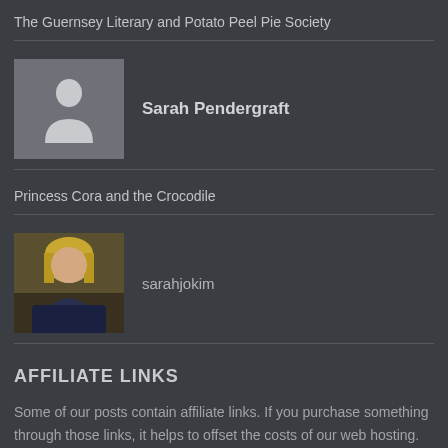The Guernsey Literary and Potato Peel Pie Society
[Figure (illustration): Gray placeholder avatar silhouette icon for user Sarah Pendergraft]
Sarah Pendergraft
Princess Cora and the Crocodile
[Figure (photo): Small profile photo of a woman with blonde hair, sarahjokim]
sarahjokim
AFFILIATE LINKS
Some of our posts contain affiliate links. If you purchase something through those links, it helps to offset the costs of our web hosting. Thank you for that!